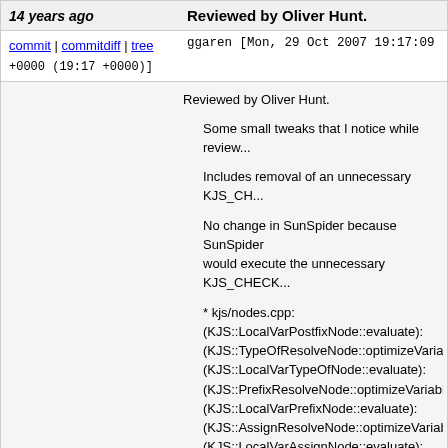14 years ago   Reviewed by Oliver Hunt.
commit | commitdiff | tree   ggaren [Mon, 29 Oct 2007 19:17:09 +0000 (19:17 +0000)]
Reviewed by Oliver Hunt.

Some small tweaks that I notice while review...

Includes removal of an unnecessary KJS_CH...

No change in SunSpider because SunSpider would execute the unnecessary KJS_CHECK...

* kjs/nodes.cpp:
(KJS::LocalVarPostfixNode::evaluate):
(KJS::TypeOfResolveNode::optimizeVariable...):
(KJS::LocalVarTypeOfNode::evaluate):
(KJS::PrefixResolveNode::optimizeVariableA...):
(KJS::LocalVarPrefixNode::evaluate):
(KJS::AssignResolveNode::optimizeVariable...):
(KJS::LocalVarAssignNode::evaluate):
* kjs/nodes.h:
(KJS::LocalVarTypeOfNode::):
(KJS::PrefixResolveNode::):
(KJS::LocalVarPrefixNode::):
(KJS::AssignResolveNode::):
(KJS::LocalVarAssignNode::):
git-svn-